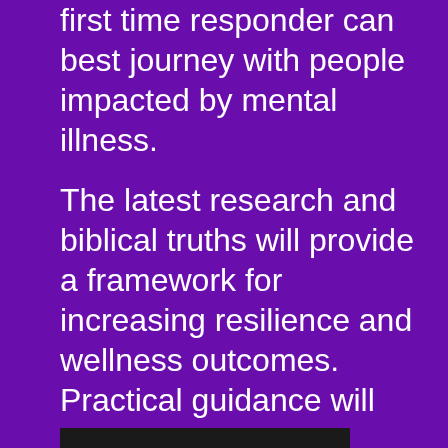first time responder can best journey with people impacted by mental illness.
The latest research and biblical truths will provide a framework for increasing resilience and wellness outcomes. Practical guidance will be shared from the perspectives of a mental health professional, a family member, and a person with lived experience.